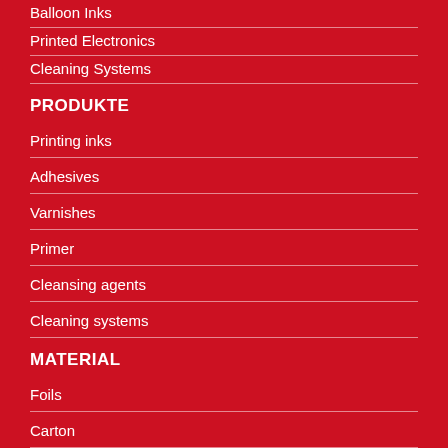Balloon Inks
Printed Electronics
Cleaning Systems
PRODUKTE
Printing inks
Adhesives
Varnishes
Primer
Cleansing agents
Cleaning systems
MATERIAL
Foils
Carton